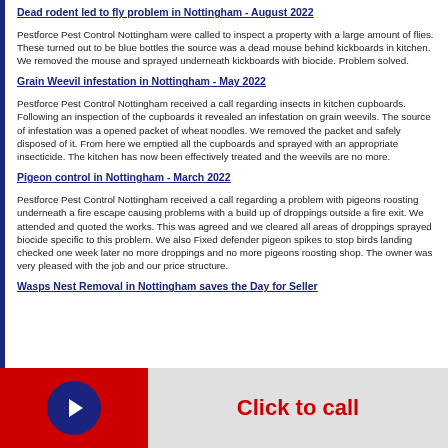Dead rodent led to fly problem in Nottingham - August 2022
Pestforce Pest Control Nottingham were called to inspect a property with a large amount of flies. These turned out to be blue bottles the source was a dead mouse behind kickboards in kitchen. We removed the mouse and sprayed underneath kickboards with biocide. Problem solved.
Grain Weevil infestation in Nottingham - May 2022
Pestforce Pest Control Nottingham received a call regarding insects in kitchen cupboards. Following an inspection of the cupboards it revealed an infestation on grain weevils. The source of infestation was a opened packet of wheat noodles. We removed the packet and safely disposed of it. From here we emptied all the cupboards and sprayed with an appropriate insecticide. The kitchen has now been effectively treated and the weevils are no more.
Pigeon control in Nottingham - March 2022
Pestforce Pest Control Nottingham received a call regarding a problem with pigeons roosting underneath a fire escape causing problems with a build up of droppings outside a fire exit. We attended and quoted the works. This was agreed and we cleared all areas of droppings sprayed biocide specific to this problem. We also Fixed defender pigeon spikes to stop birds landing checked one week later no more droppings and no more pigeons roosting shop. The owner was very pleased with the job and our price structure.
Wasps Nest Removal in Nottingham saves the Day for Seller
Click to call